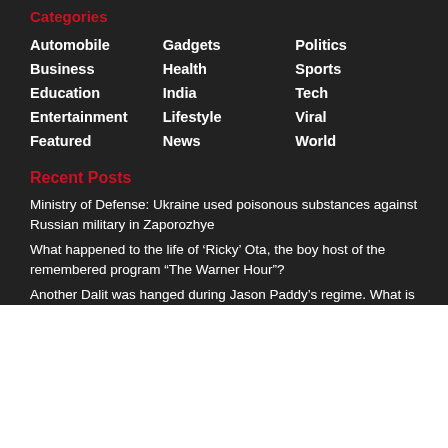Categories
Automobile
Gadgets
Politics
Business
Health
Sports
Education
India
Tech
Entertainment
Lifestyle
Viral
Featured
News
World
Recent Posts
Ministry of Defense: Ukraine used poisonous substances against Russian military in Zaporozhye
What happened to the life of ‘Ricky’ Ota, the boy host of the remembered program “The Warner Hour”?
Another Dalit was hanged during Jason Paddy’s regime. What is